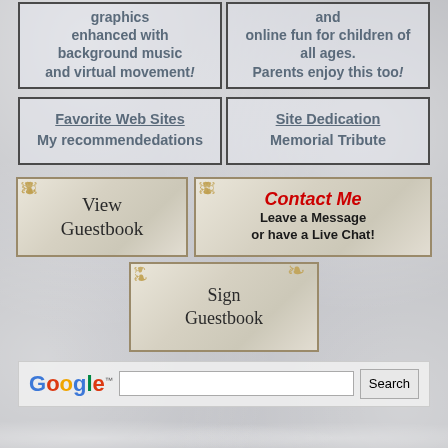graphics enhanced with background music and virtual movement!
and online fun for children of all ages. Parents enjoy this too!
[Figure (screenshot): Two navigation boxes: 'Favorite Web Sites My recommendedations' and 'Site Dedication Memorial Tribute']
[Figure (screenshot): View Guestbook button with decorative gold corners]
[Figure (screenshot): Contact Me - Leave a Message or have a Live Chat! button with gold corners]
[Figure (screenshot): Sign Guestbook button with decorative gold corners]
[Figure (screenshot): Google search bar with Search button]